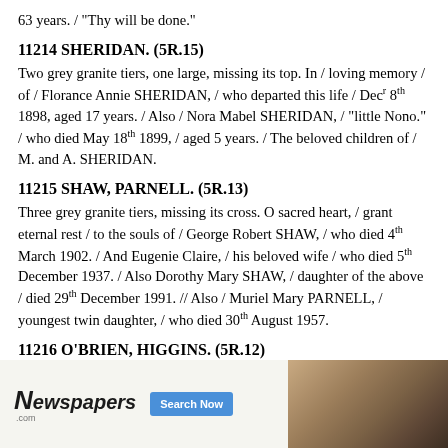63 years. / "Thy will be done."
11214 SHERIDAN. (5R.15)
Two grey granite tiers, one large, missing its top. In / loving memory / of / Florance Annie SHERIDAN, / who departed this life / Decʳ 8ᵗʰ 1898, aged 17 years. / Also / Nora Mabel SHERIDAN, / "little Nono." / who died May 18ᵗʰ 1899, / aged 5 years. / The beloved children of / M. and A. SHERIDAN.
11215 SHAW, PARNELL. (5R.13)
Three grey granite tiers, missing its cross. O sacred heart, / grant eternal rest / to the souls of / George Robert SHAW, / who died 4ᵗʰ March 1902. / And Eugenie Claire, / his beloved wife / who died 5ᵗʰ December 1937. / Also Dorothy Mary SHAW, / daughter of the above / died 29ᵗʰ December 1991. // Also / Muriel Mary PARNELL, / youngest twin daughter, / who died 30ᵗʰ August 1957.
11216 O'BRIEN, HIGGINS. (5R.12)
Three white stone tiers, missing its cross. In loving memory of / Rose, / the ... died 8ᵗʰ May 1902 ... her